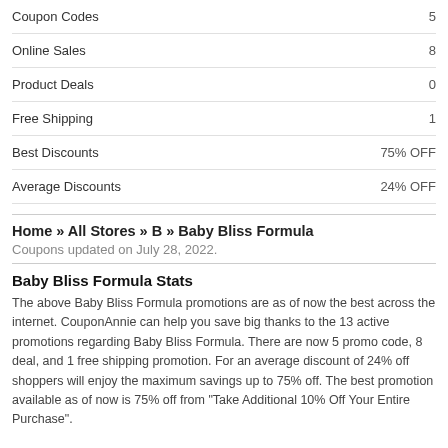|  |  |
| --- | --- |
| Coupon Codes | 5 |
| Online Sales | 8 |
| Product Deals | 0 |
| Free Shipping | 1 |
| Best Discounts | 75% OFF |
| Average Discounts | 24% OFF |
Home » All Stores » B » Baby Bliss Formula
Coupons updated on July 28, 2022.
Baby Bliss Formula Stats
The above Baby Bliss Formula promotions are as of now the best across the internet. CouponAnnie can help you save big thanks to the 13 active promotions regarding Baby Bliss Formula. There are now 5 promo code, 8 deal, and 1 free shipping promotion. For an average discount of 24% off shoppers will enjoy the maximum savings up to 75% off. The best promotion available as of now is 75% off from "Take Additional 10% Off Your Entire Purchase".